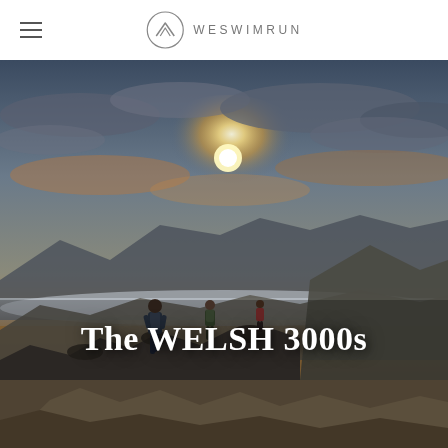WESWIMRUN
[Figure (photo): Mountain landscape at sunset/dawn with hikers on a rocky ridge. Dramatic sky with sun breaking through clouds, mountain peaks visible in background with mist below. Several hikers with backpacks walking along a rocky mountain path.]
The WELSH 3000s